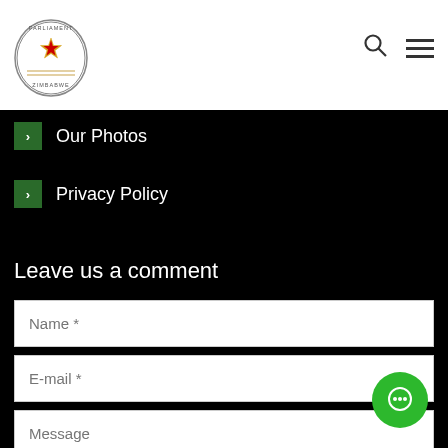Parliament of Zimbabwe header with logo, search icon, and menu
Our Photos
Privacy Policy
Leave us a comment
Name *
E-mail *
Message
Submit